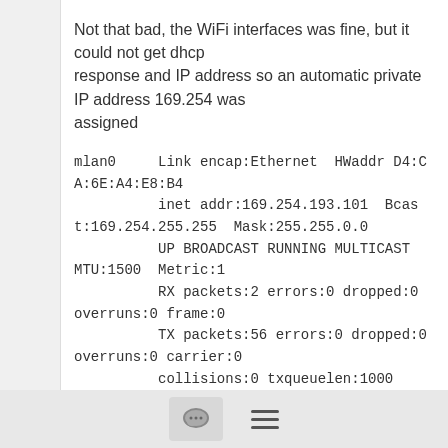Not that bad, the WiFi interfaces was fine, but it could not get dhcp
response and IP address so an automatic private IP address 169.254 was
assigned
mlan0     Link encap:Ethernet  HWaddr D4:CA:6E:A4:E8:B4
          inet addr:169.254.193.101  Bcast:169.254.255.255  Mask:255.255.0.0
          UP BROADCAST RUNNING MULTICAST  MTU:1500  Metric:1
          RX packets:2 errors:0 dropped:0 overruns:0 frame:0
          TX packets:56 errors:0 dropped:0 overruns:0 carrier:0
          collisions:0 txqueuelen:1000
          RX bytes:330 (330.0 B)  TX bytes:16392 (16.0 KiB)